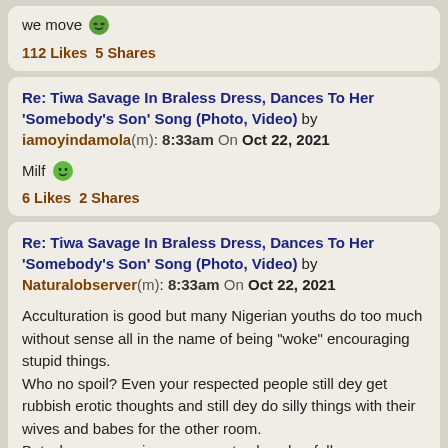we move 😎 112 Likes 5 Shares
Re: Tiwa Savage In Braless Dress, Dances To Her 'Somebody's Son' Song (Photo, Video) by iamoyindamola(m): 8:33am On Oct 22, 2021
Milf 🙂 6 Likes 2 Shares
Re: Tiwa Savage In Braless Dress, Dances To Her 'Somebody's Son' Song (Photo, Video) by Naturalobserver(m): 8:33am On Oct 22, 2021
Acculturation is good but many Nigerian youths do too much without sense all in the name of being "woke" encouraging stupid things.
Who no spoil? Even your respected people still dey get rubbish erotic thoughts and still dey do silly things with their wives and babes for the other room.
But why encouraging someone to show her full